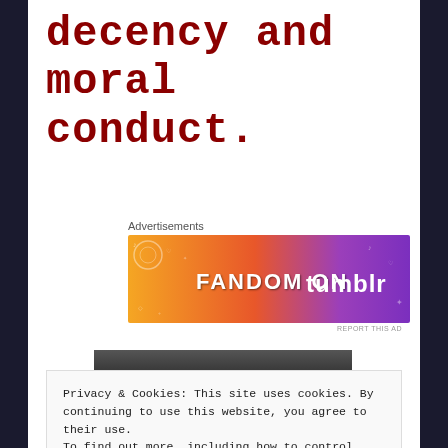decency and moral conduct.
Advertisements
[Figure (illustration): Fandom on Tumblr advertisement banner with orange-to-purple gradient and doodle illustrations]
REPORT THIS AD
[Figure (photo): Black and white photo of a person, partially obscured by cookie notice]
Privacy & Cookies: This site uses cookies. By continuing to use this website, you agree to their use.
To find out more, including how to control cookies, see here: Cookie Policy
Close and accept